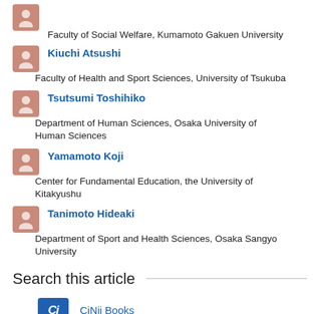Faculty of Social Welfare, Kumamoto Gakuen University
Kiuchi Atsushi
Faculty of Health and Sport Sciences, University of Tsukuba
Tsutsumi Toshihiko
Department of Human Sciences, Osaka University of Human Sciences
Yamamoto Koji
Center for Fundamental Education, the University of Kitakyushu
Tanimoto Hideaki
Department of Sport and Health Sciences, Osaka Sangyo University
Search this article
CiNii Books